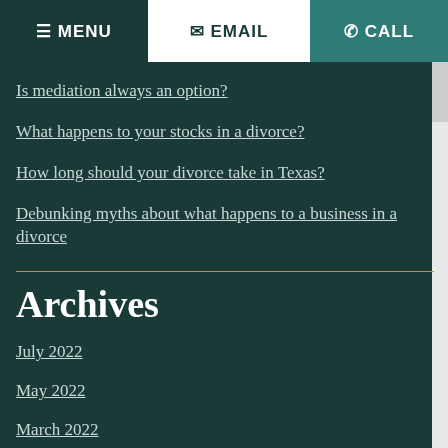≡ MENU   ✉ EMAIL   ☎ CALL
Is mediation always an option?
What happens to your stocks in a divorce?
How long should your divorce take in Texas?
Debunking myths about what happens to a business in a divorce
Archives
July 2022
May 2022
March 2022